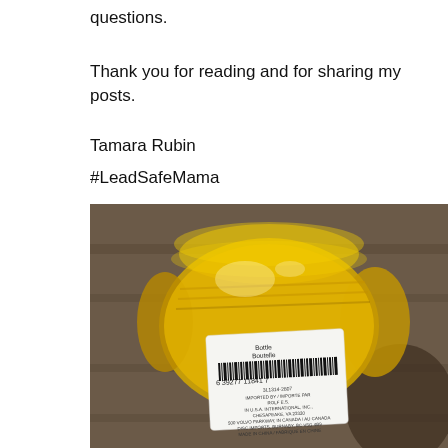questions.
Thank you for reading and for sharing my posts.
Tamara Rubin
#LeadSafeMama
[Figure (photo): Bottom of a yellow glass bottle lying on its side showing a white label with barcode (6 39277 11841) and text: Bottle/Boutelle, 3L1314-2807, Imported by/Importe Par Rolf E.S., In U.S.A. International Inc., Chesapeake VA 23320, 500 Volvo Parkway, In Canada/Au Canada, DISC Imports, Burnaby BC V5G 4B9, Made in China/Fabrique en Chine]